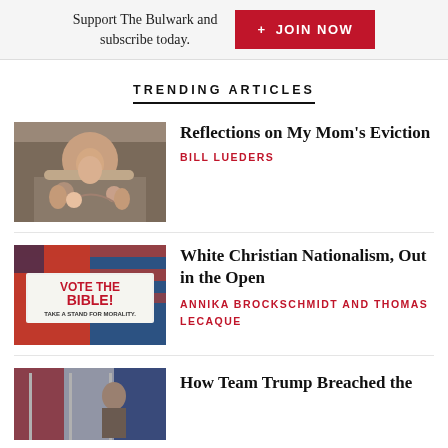Support The Bulwark and subscribe today.
+ JOIN NOW
TRENDING ARTICLES
[Figure (photo): Elderly woman smiling surrounded by family members including a baby]
Reflections on My Mom's Eviction
BILL LUEDERS
[Figure (photo): Sign reading 'VOTE THE BIBLE! TAKE A STAND FOR MORALITY.' on American flag background]
White Christian Nationalism, Out in the Open
ANNIKA BROCKSCHMIDT AND THOMAS LECAQUE
[Figure (photo): Woman in front of American flags]
How Team Trump Breached the